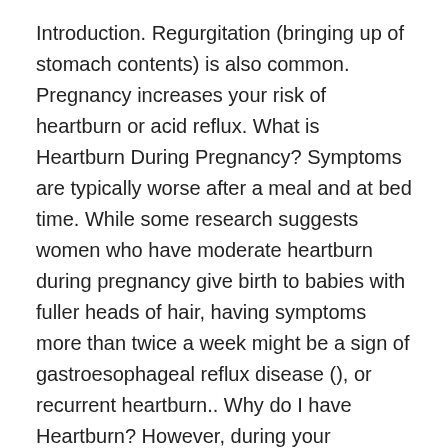Introduction. Regurgitation (bringing up of stomach contents) is also common. Pregnancy increases your risk of heartburn or acid reflux. What is Heartburn During Pregnancy? Symptoms are typically worse after a meal and at bed time. While some research suggests women who have moderate heartburn during pregnancy give birth to babies with fuller heads of hair, having symptoms more than twice a week might be a sign of gastroesophageal reflux disease (), or recurrent heartburn.. Why do I have Heartburn? However, during your pregnancy you can try some of these techniques to help ease the discomfort of pregnancy heartburn. It becomes more common as the pregnancy progresses: from 22% in the first trimester to 39% in the second trimester to between 60% and 72% in the third trimester. The symptoms of heartburn in pregnancy may be frequent, severe and distressing, but serious complications are rare. There are two main causes of heartburn during pregnancy – the ongoing hormonal changes in the body and the increasing